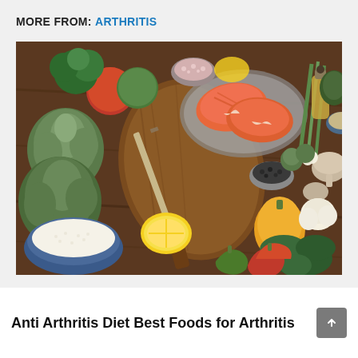MORE FROM: ARTHRITIS
[Figure (photo): Overhead view of anti-arthritis foods including salmon steaks on a plate, artichokes, tomatoes, peppers, lemon, garlic, mushrooms, basil, rice in a bowl, a wooden cutting board with a knife, and various vegetables arranged on a dark wooden surface.]
Anti Arthritis Diet Best Foods for Arthritis